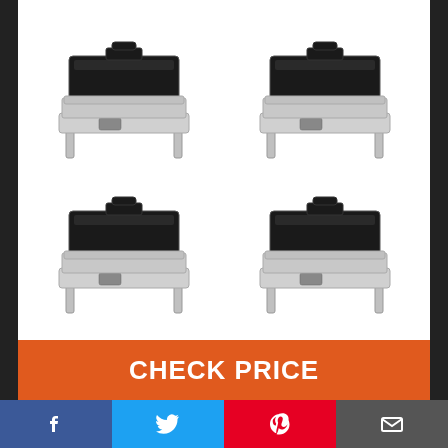[Figure (photo): Four stainless steel chafing dishes with black handles arranged in a 2x2 grid on a white background]
CHECK PRICE
[Figure (infographic): Social media footer bar with Facebook, Twitter, Pinterest, and email icons]